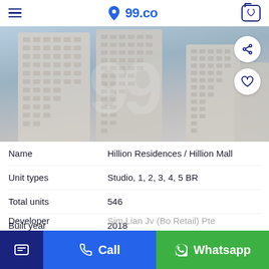99.co
[Figure (photo): Photograph of tall modern residential towers (Hillion Residences) with a 99 watermark overlay, blue-grey sky background]
| Name | Hillion Residences / Hillion Mall |
| Unit types | Studio, 1, 2, 3, 4, 5 BR |
| Total units | 546 |
| Built year | 2018 |
| Developer | Sim Lian Jv (Bo Retail) Pte |